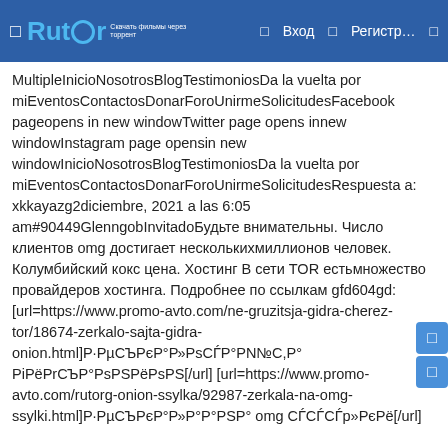Rutor | Вход | Регистр…
MultipleInicioNosotrosBlogTestimoniosDa la vuelta por miEventosContactosDonarForoUnirmeSolicitudesFacebook pageopens in new windowTwitter page opens innew windowInstagram page opensin new windowInicioNosotrosBlogTestimoniosDa la vuelta por miEventosContactosDonarForoUnirmeSolicitudesRespuesta a: xkkayazg2diciembre, 2021 a las 6:05 am#90449GlenngobInvitadoБудьте внимательны. Число клиентов omg достигает несколькихмиллионов человек. Колумбийский кокс цена. Хостинг В сети TOR естьмножество провайдеров хостинга. Подробнее по ссылкам gfd604gd: [url=https://www.promo-avto.com/ne-gruzitsja-gidra-cherez-tor/18674-zerkalo-sajta-gidra-onion.html]Р·РµСЪРєР°Р»РsSСЃР°РN№С,Р° РiРёРГСЪР°РsPSРёРsPS[/url] [url=https://www.promo-avto.com/rutorg-onion-ssylka/92987-zerkala-na-omg-ssylki.html]Р·РµСЪРєР°Р»Р°РSР° omg СЃСЃР»РєРё[/url]